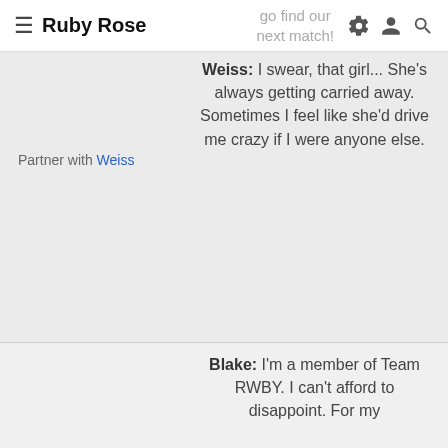Ruby Rose
go find our next match!
Partner with Weiss
Weiss: I swear, that girl... She's always getting carried away. Sometimes I feel like she'd drive me crazy if I were anyone else.
Blake: I'm a member of Team RWBY. I can't afford to disappoint. For my